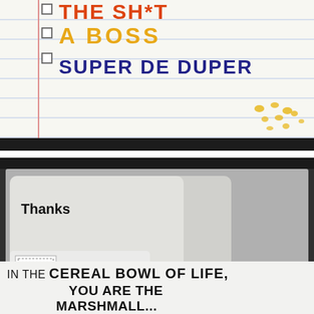[Figure (photo): Notebook page with checkboxes and handwritten-style text. Three items: 'THE SH*T' in orange/red, 'A BOSS' in yellow/gold, 'SUPER DE DUPER' in dark blue. Yellow dots in bottom-right corner.]
[Figure (photo): Greeting cards on a store display. Front card reads 'Thanks'. Behind it, a card showing a stamp graphic. Bottom card reads 'IN THE CEREAL BOWL OF LIFE, YOU ARE THE MARSHMALL...' (partially visible).]